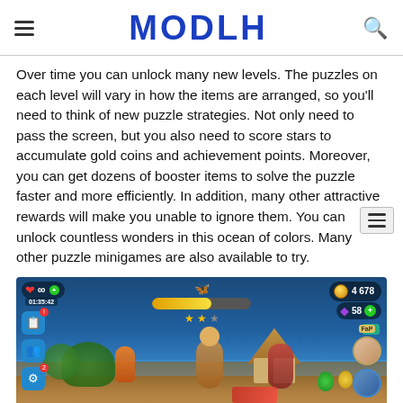MODLH
Over time you can unlock many new levels. The puzzles on each level will vary in how the items are arranged, so you'll need to think of new puzzle strategies. Not only need to pass the screen, but you also need to score stars to accumulate gold coins and achievement points. Moreover, you can get dozens of booster items to solve the puzzle faster and more efficiently. In addition, many other attractive rewards will make you unable to ignore them. You can unlock countless wonders in this ocean of colors. Many other puzzle minigames are also available to try.
[Figure (screenshot): Mobile game screenshot showing an underwater/tropical scene with game UI elements including a heart/lives counter, progress bar, gold coins (4 678), gems (58), timer (01:35:42), and various side buttons. Colorful game scene with characters, seahorse, tropical hut, and underwater coral environment.]